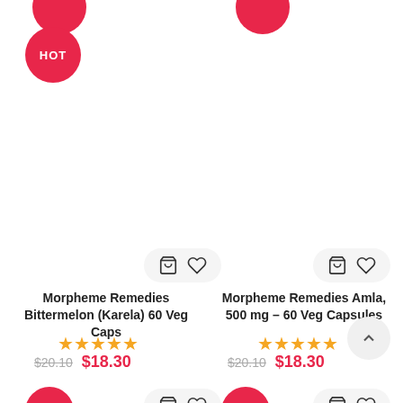[Figure (other): Partial red circle badge at top left (cropped)]
[Figure (other): Partial red circle badge at top right (cropped)]
[Figure (other): HOT badge circle left product]
Morpheme Remedies Bittermelon (Karela) 60 Veg Caps
[Figure (other): 5-star rating left product]
$20.10  $18.30
[Figure (other): HOT badge circle right product]
Morpheme Remedies Amla, 500 mg – 60 Veg Capsules
[Figure (other): 5-star rating right product]
$20.10  $18.30
[Figure (other): -9% discount badge bottom left]
[Figure (other): HOT badge bottom left]
[Figure (other): -9% discount badge bottom right]
[Figure (other): HOT badge bottom right]